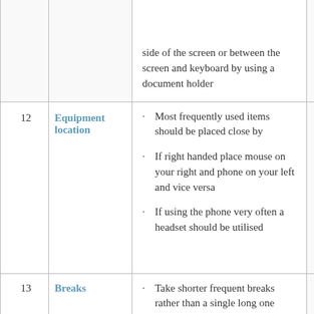| # | Category | Details |  |
| --- | --- | --- | --- |
|  |  | side of the screen or between the screen and keyboard by using a document holder |  |
| 12 | Equipment location | · Most frequently used items should be placed close by
· If right handed place mouse on your right and phone on your left and vice versa
· If using the phone very often a headset should be utilised |  |
| 13 | Breaks | · Take shorter frequent breaks rather than a single long one |  |